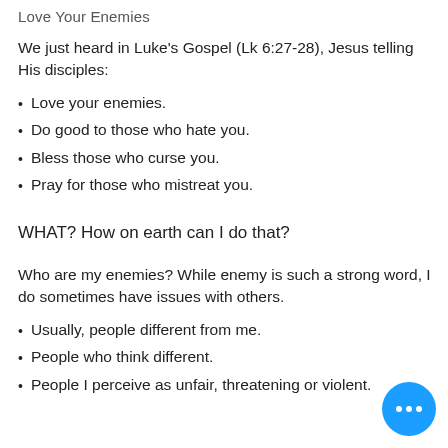Love Your Enemies
We just heard in Luke's Gospel (Lk 6:27-28), Jesus telling His disciples:
Love your enemies.
Do good to those who hate you.
Bless those who curse you.
Pray for those who mistreat you.
WHAT? How on earth can I do that?
Who are my enemies? While enemy is such a strong word, I do sometimes have issues with others.
Usually, people different from me.
People who think different.
People I perceive as unfair, threatening or violent.